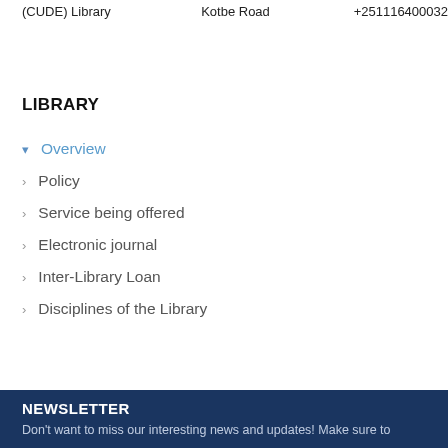(CUDE) Library
Kotbe Road
+251116400032
LIBRARY
Overview
Policy
Service being offered
Electronic journal
Inter-Library Loan
Disciplines of the Library
NEWSLETTER
Don't want to miss our interesting news and updates! Make sure to